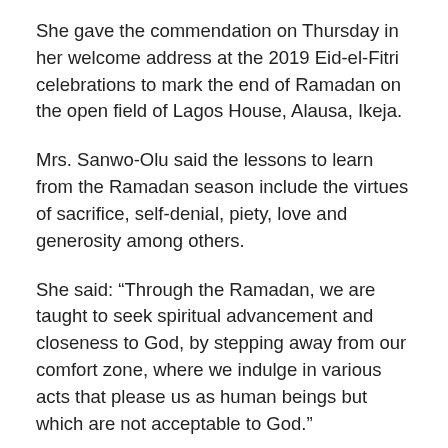She gave the commendation on Thursday in her welcome address at the 2019 Eid-el-Fitri celebrations to mark the end of Ramadan on the open field of Lagos House, Alausa, Ikeja.
Mrs. Sanwo-Olu said the lessons to learn from the Ramadan season include the virtues of sacrifice, self-denial, piety, love and generosity among others.
She said: “Through the Ramadan, we are taught to seek spiritual advancement and closeness to God, by stepping away from our comfort zone, where we indulge in various acts that please us as human beings but which are not acceptable to God.”
According to her, Ramadan teaches selflessness and love, requiring thinking less about one’s self and more about the welfare of less privileged people.
“We are expected to give, help, put smiles on the faces of people and to be a source of blessing to many; in all, it teaches us to emulate the sterling qualities of the Holy